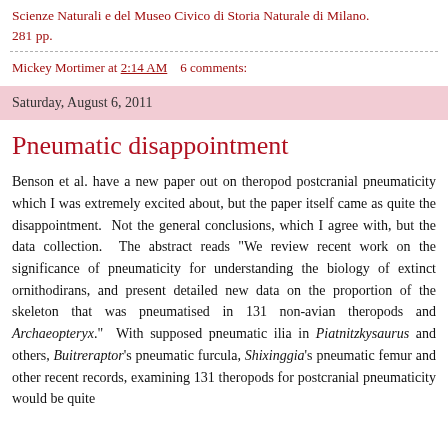Scienze Naturali e del Museo Civico di Storia Naturale di Milano. 281 pp.
Mickey Mortimer at 2:14 AM   6 comments:
Saturday, August 6, 2011
Pneumatic disappointment
Benson et al. have a new paper out on theropod postcranial pneumaticity which I was extremely excited about, but the paper itself came as quite the disappointment.  Not the general conclusions, which I agree with, but the data collection.  The abstract reads "We review recent work on the significance of pneumaticity for understanding the biology of extinct ornithodirans, and present detailed new data on the proportion of the skeleton that was pneumatised in 131 non-avian theropods and Archaeopteryx."  With supposed pneumatic ilia in Piatnitzkysaurus and others, Buitreraptor's pneumatic furcula, Shixinggia's pneumatic femur and other recent records, examining 131 theropods for postcranial pneumaticity would be quite